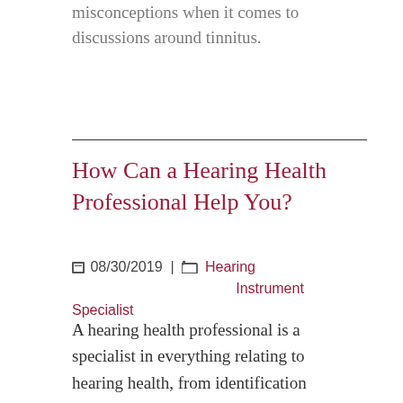misconceptions when it comes to discussions around tinnitus.
How Can a Hearing Health Professional Help You?
08/30/2019 | Hearing Instrument Specialist
A hearing health professional is a specialist in everything relating to hearing health, from identification and diagnosis to treating the condition and the prevention of